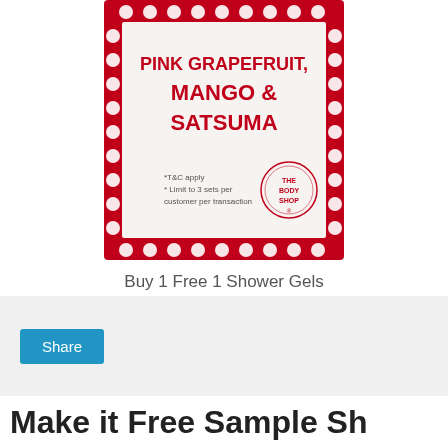[Figure (illustration): The Body Shop promotional banner with red sparkle border showing 'PINK GRAPEFRUIT, MANGO & SATSUMA' text with The Body Shop logo and fine print about T&C and limit of 3 sets per customer per transaction.]
Buy 1 Free 1 Shower Gels
Choose from Paink Grapefruit, Mango & Satsuma
Limit to 3 sets per customer per transaction
Share
Make it Free Sample Sh...